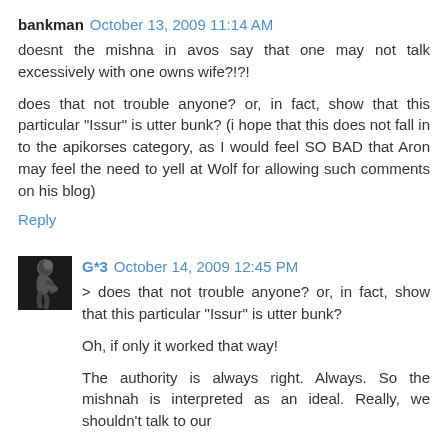bankman October 13, 2009 11:14 AM
doesnt the mishna in avos say that one may not talk excessively with one owns wife?!?!
does that not trouble anyone? or, in fact, show that this particular "Issur" is utter bunk? (i hope that this does not fall in to the apikorses category, as I would feel SO BAD that Aron may feel the need to yell at Wolf for allowing such comments on his blog)
Reply
[Figure (photo): Small avatar image of a thinking statue (The Thinker), dark grayscale photo]
G*3 October 14, 2009 12:45 PM
> does that not trouble anyone? or, in fact, show that this particular "Issur" is utter bunk?
Oh, if only it worked that way!
The authority is always right. Always. So the mishnah is interpreted as an ideal. Really, we shouldn't talk to our